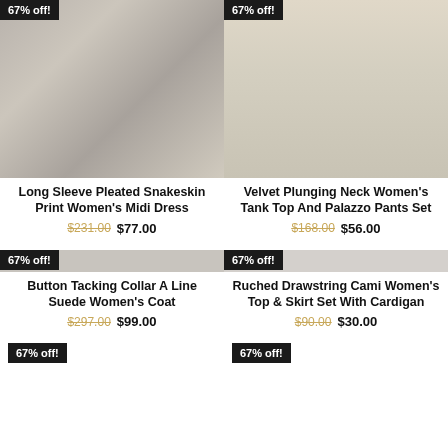[Figure (photo): Woman wearing long sleeve pleated snakeskin print midi dress, gray/black pattern]
67% off!
Long Sleeve Pleated Snakeskin Print Women's Midi Dress
$231.00  $77.00
[Figure (photo): Woman wearing black velvet plunging neck tank top and palazzo pants set]
67% off!
Velvet Plunging Neck Women's Tank Top And Palazzo Pants Set
$168.00  $56.00
67% off!
Button Tacking Collar A Line Suede Women's Coat
$297.00  $99.00
67% off!
Ruched Drawstring Cami Women's Top & Skirt Set With Cardigan
$90.00  $30.00
67% off!
67% off!